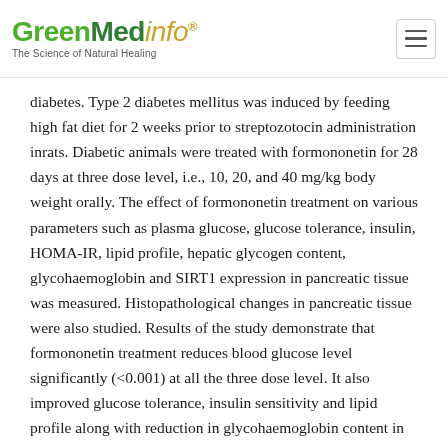GreenMedinfo® The Science of Natural Healing
diabetes. Type 2 diabetes mellitus was induced by feeding high fat diet for 2 weeks prior to streptozotocin administration inrats. Diabetic animals were treated with formononetin for 28 days at three dose level, i.e., 10, 20, and 40 mg/kg body weight orally. The effect of formononetin treatment on various parameters such as plasma glucose, glucose tolerance, insulin, HOMA-IR, lipid profile, hepatic glycogen content, glycohaemoglobin and SIRT1 expression in pancreatic tissue was measured. Histopathological changes in pancreatic tissue were also studied. Results of the study demonstrate that formononetin treatment reduces blood glucose level significantly (<0.001) at all the three dose level. It also improved glucose tolerance, insulin sensitivity and lipid profile along with reduction in glycohaemoglobin content in blood. Formononetin treatment also improved hepatic glycogen level profoundly in diabetic rats. Determination of SIRT1 expression in pancreatic tissue by immunohistochemical analysis showed that formononetin treatment increases